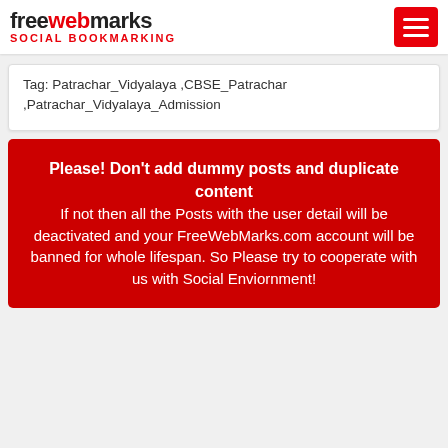freewebmarks SOCIAL BOOKMARKING
Tag: Patrachar_Vidyalaya ,CBSE_Patrachar ,Patrachar_Vidyalaya_Admission
Please! Don't add dummy posts and duplicate content If not then all the Posts with the user detail will be deactivated and your FreeWebMarks.com account will be banned for whole lifespan. So Please try to cooperate with us with Social Enviornment!